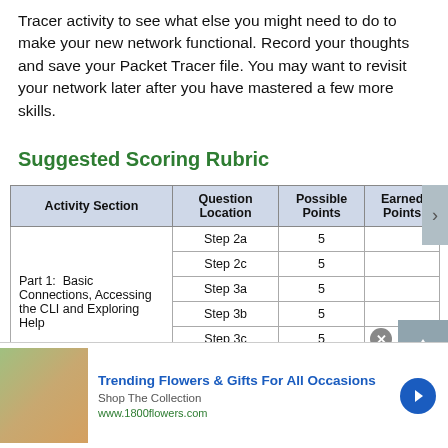Tracer activity to see what else you might need to do to make your new network functional. Record your thoughts and save your Packet Tracer file. You may want to revisit your network later after you have mastered a few more skills.
Suggested Scoring Rubric
| Activity Section | Question Location | Possible Points | Earned Points |
| --- | --- | --- | --- |
| Part 1:  Basic Connections, Accessing the CLI and Exploring Help | Step 2a | 5 |  |
|  | Step 2c | 5 |  |
|  | Step 3a | 5 |  |
|  | Step 3b | 5 |  |
|  | Step 3c | 5 |  |
|  | Part 1 Total | 25 |  |
| Part 2:  Exploring EXEC Modes | Step 1a | 5 |  |
[Figure (infographic): Advertisement banner: Trending Flowers & Gifts For All Occasions, Shop The Collection, www.1800flowers.com]